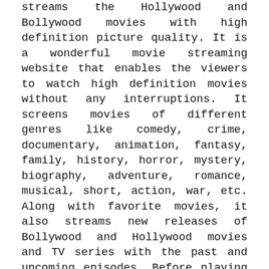streams the Hollywood and Bollywood movies with high definition picture quality. It is a wonderful movie streaming website that enables the viewers to watch high definition movies without any interruptions. It screens movies of different genres like comedy, crime, documentary, animation, fantasy, family, history, horror, mystery, biography, adventure, romance, musical, short, action, war, etc. Along with favorite movies, it also streams new releases of Bollywood and Hollywood movies and TV series with the past and upcoming episodes. Before playing the movie, it provides a short outline of every movie for the basic knowledge about the movie.
None of the viewers of the Zmovie website are required to register themselves for watching a movie. All the viewers can watch HD quality movies for free, without any buffering and